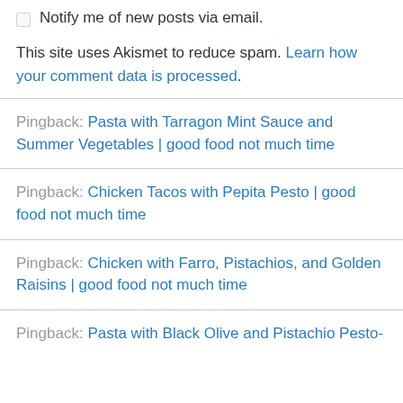Notify me of new posts via email.
This site uses Akismet to reduce spam. Learn how your comment data is processed.
Pingback: Pasta with Tarragon Mint Sauce and Summer Vegetables | good food not much time
Pingback: Chicken Tacos with Pepita Pesto | good food not much time
Pingback: Chicken with Farro, Pistachios, and Golden Raisins | good food not much time
Pingback: Pasta with Black Olive and Pistachio Pesto-